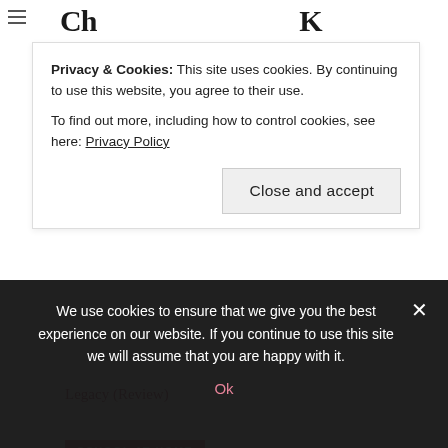Privacy & Cookies: This site uses cookies. By continuing to use this website, you agree to their use.
To find out more, including how to control cookies, see here: Privacy Policy
Close and accept
Legacy (Review)
SCHOOL AT HOME
Westward Ho! Exploring American History with (Review)
We use cookies to ensure that we give you the best experience on our website. If you continue to use this site we will assume that you are happy with it.
Ok